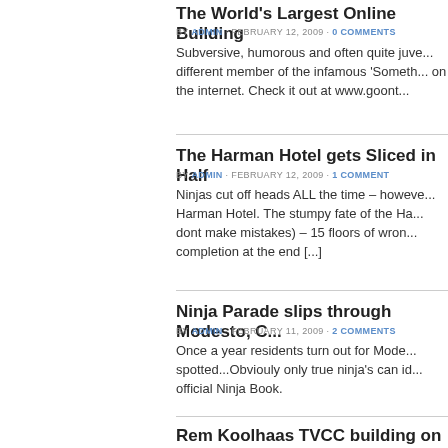The World's Largest Online Building
BY ADMIN · FEBRUARY 12, 2009 · 0 COMMENTS
Subversive, humorous and often quite juve... different member of the infamous 'Someth... on the internet. Check it out at www.goont...
The Harman Hotel gets Sliced in Half
BY ADMIN · FEBRUARY 12, 2009 · 1 COMMENT
Ninjas cut off heads ALL the time – howeve... Harman Hotel. The stumpy fate of the Ha... dont make mistakes) – 15 floors of wron... completion at the end [...]
Ninja Parade slips through Modesto, C...
BY ADMIN · FEBRUARY 11, 2009 · 2 COMMENTS
Once a year residents turn out for Mode... spotted...Obviouly only true ninja's can id... official Ninja Book.
Rem Koolhaas TVCC building on fire
BY ADMIN · FEBRUARY 10, 2009 · 0 COMMENTS